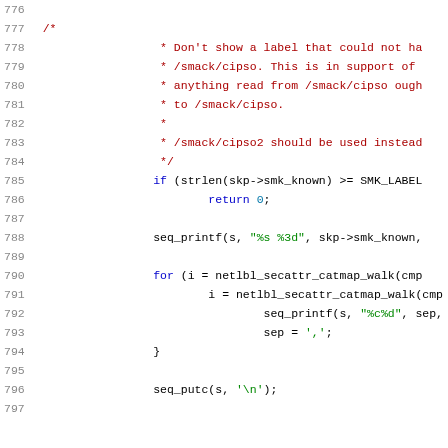[Figure (screenshot): Source code listing lines 776-797 in C, showing a comment block about smack/cipso labels, an if-statement checking strlen, a seq_printf call, a for loop using netlbl_secattr_catmap_walk, and a seq_putc call.]